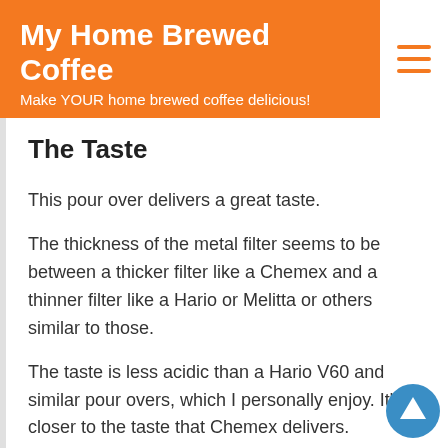My Home Brewed Coffee – Make YOUR home brewed coffee delicious!
The Taste
This pour over delivers a great taste.
The thickness of the metal filter seems to be between a thicker filter like a Chemex and a thinner filter like a Hario or Melitta or others similar to those.
The taste is less acidic than a Hario V60 and similar pour overs, which I personally enjoy. It's closer to the taste that Chemex delivers.